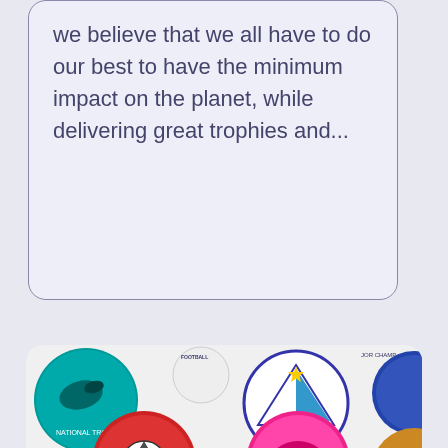we believe that we all have to do our best to have the minimum impact on the planet, while delivering great trophies and...
[Figure (photo): A collection of circular badges/pins featuring various club logos including Maylandsea Bay Sailing Club, football clubs, and other organization badges]